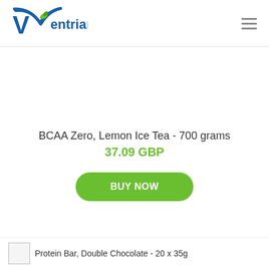[Figure (logo): Ventrian.com logo with blue checkmark/V shape and green leaf accent]
BCAA Zero, Lemon Ice Tea - 700 grams
37.09 GBP
BUY NOW
Protein Bar, Double Chocolate - 20 x 35g